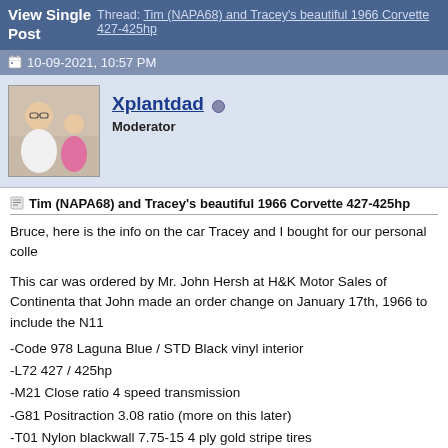View Single Post  Thread: Tim (NAPA68) and Tracey's beautiful 1966 Corvette 427-425hp
10-09-2021, 10:57 PM
Xplantdad  Moderator
Tim (NAPA68) and Tracey's beautiful 1966 Corvette 427-425hp
Bruce, here is the info on the car Tracey and I bought for our personal colle
This car was ordered by Mr. John Hersh at H&K Motor Sales of Continenta that John made an order change on January 17th, 1966 to include the N11
-Code 978 Laguna Blue / STD Black vinyl interior
-L72 427 / 425hp
-M21 Close ratio 4 speed transmission
-G81 Positraction 3.08 ratio (more on this later)
-T01 Nylon blackwall 7.75-15 4 ply gold stripe tires
-F41 Special purpose front & rear suspension
-K66 Transistorized ignition (required)
-A02 Soft Ray tinted windshield
-P48 Special cast aluminum wheels (knock offs)
-N36 Telescopic steering shaft